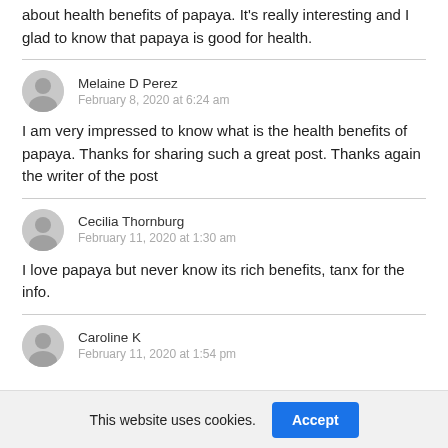about health benefits of papaya. It's really interesting and I glad to know that papaya is good for health.
Melaine D Perez
February 8, 2020 at 6:24 am
I am very impressed to know what is the health benefits of papaya. Thanks for sharing such a great post. Thanks again the writer of the post
Cecilia Thornburg
February 11, 2020 at 1:30 am
I love papaya but never know its rich benefits, tanx for the info.
Caroline K
February 11, 2020 at 1:54 pm
This website uses cookies.